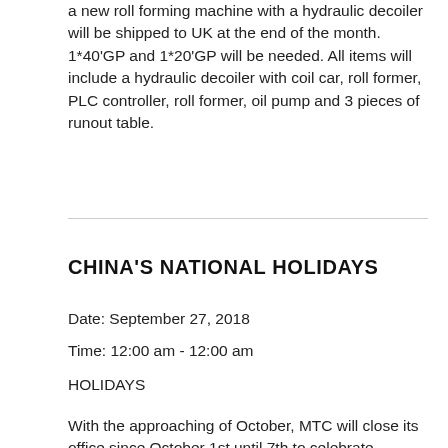a new roll forming machine with a hydraulic decoiler will be shipped to UK at the end of the month. 1*40'GP and 1*20'GP will be needed. All items will include a hydraulic decoiler with coil car, roll former, PLC controller, roll former, oil pump and 3 pieces of runout table.
CHINA'S NATIONAL HOLIDAYS
Date: September 27, 2018
Time: 12:00 am - 12:00 am
HOLIDAYS
With the approaching of October, MTC will close its office since October 1st until 7th to celebrate China's National